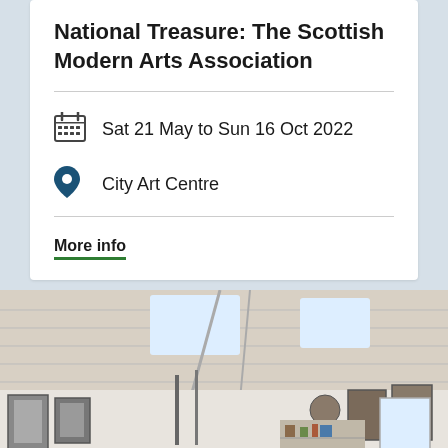National Treasure: The Scottish Modern Arts Association
Sat 21 May to Sun 16 Oct 2022
City Art Centre
More info
[Figure (photo): Interior of an art studio or gallery with white wooden ceiling, skylights, and walls covered with framed artworks, sculptures, and various objects. Shelves with art supplies visible in the background.]